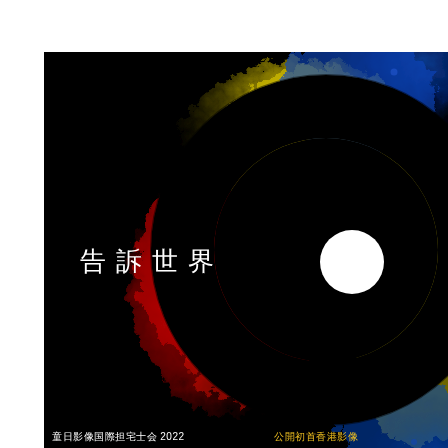[Figure (illustration): Movie poster with black background. A large circular eye/lens shape dominates the right half, rendered with colorful particle/explosion effects in red, yellow, and blue. The circle has a black ring with a white inner circle (pupil) off-center to the right. Colorful dust/particle effects radiate outward from the eye shape — red on the left, yellow-green in the upper center, and blue on the upper right and lower portions. Chinese characters '告訴世界' appear in white on the left-center area. Bottom text shows '童日影像国際担宅士会 2022' on the left and '公開初首香港影像' in yellow on the right.]